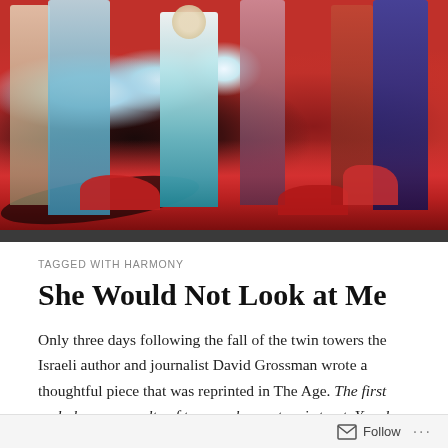[Figure (illustration): A colorful painting showing figures in robes/clothing standing in a red rocky landscape. Central figure wears teal/blue robes. Background figures in blue and dark clothing. Red rocky terrain surrounds them.]
TAGGED WITH HARMONY
She Would Not Look at Me
Only three days following the fall of the twin towers the Israeli author and journalist David Grossman wrote a thoughtful piece that was reprinted in The Age. The first and always casualty of terror – he wrote – is trust. You do not trust your fellow citizen, you feel you cannot afford to. Your neighbour of yesterday might be your enemy of